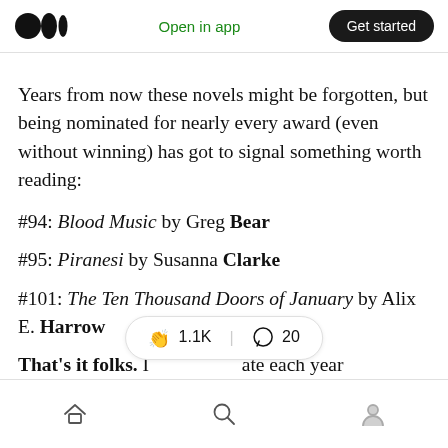Medium app header: logo | Open in app | Get started
Years from now these novels might be forgotten, but being nominated for nearly every award (even without winning) has got to signal something worth reading:
#94: Blood Music by Greg Bear
#95: Piranesi by Susanna Clarke
#101: The Ten Thousand Doors of January by Alix E. Harrow
That's it folks. [clap 1.1K | comment 20] ...ate each year
Bottom navigation: home | search | profile